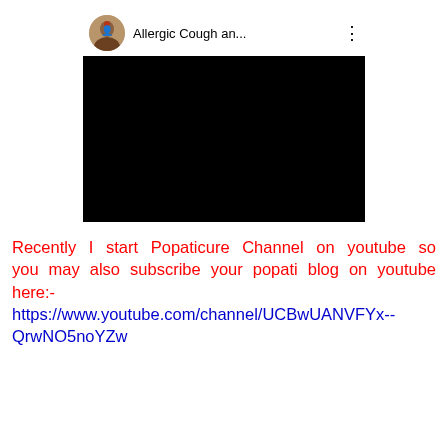[Figure (screenshot): YouTube video embed screenshot showing a video player with a user avatar, truncated title 'Allergic Cough an...', three-dot menu icon, and a black video content area.]
Recently I start Popaticure Channel on youtube so you may also subscribe your popati blog on youtube here:- https://www.youtube.com/channel/UCBwUANVFYx--QrwNO5noYZw